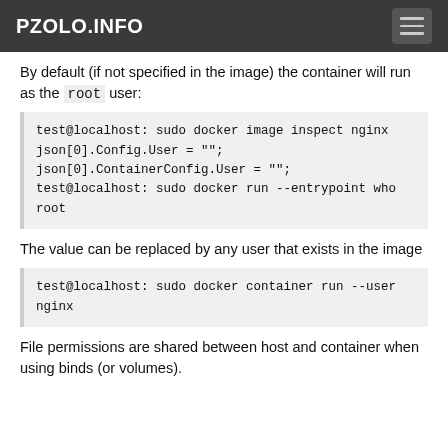PZOLO.INFO
By default (if not specified in the image) the container will run as the root user:
test@localhost: sudo docker image inspect nginx
json[0].Config.User = "";
json[0].ContainerConfig.User = "";
test@localhost: sudo docker run --entrypoint who
root
The value can be replaced by any user that exists in the image
test@localhost: sudo docker container run --user
nginx
File permissions are shared between host and container when using binds (or volumes).